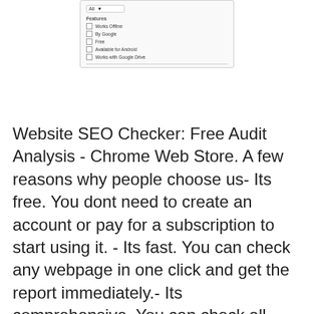[Figure (screenshot): Chrome Web Store filter panel screenshot showing a dropdown set to 'All' and a Features section with checkboxes: Works Offline, By Google, Free, Available for Android, Works with Google Drive]
Website SEO Checker: Free Audit Analysis - Chrome Web Store. A few reasons why people choose us- Its free. You dont need to create an account or pay for a subscription to start using it. - Its fast. You can check any webpage in one click and get the report immediately.- Its comprehensive. You can check all essential SEO parameters in one report, which is sorted by importance.- Its trusted. Thousands of people use it in their daily routine.Parameters you can check1. General info 2. Structured dataUse cases1. Detecting SEO issues on your top landing pages. Make sure that your best pages by traffic and sales have no critical SEO errors. Giving a quick SEO